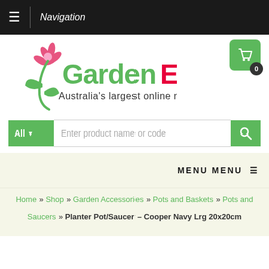Navigation
[Figure (logo): GardenExpress logo with flower graphic and tagline 'Australia's largest online nursery']
Enter product name or code
MENU MENU
Home » Shop » Garden Accessories » Pots and Baskets » Pots and Saucers » Planter Pot/Saucer – Cooper Navy Lrg 20x20cm